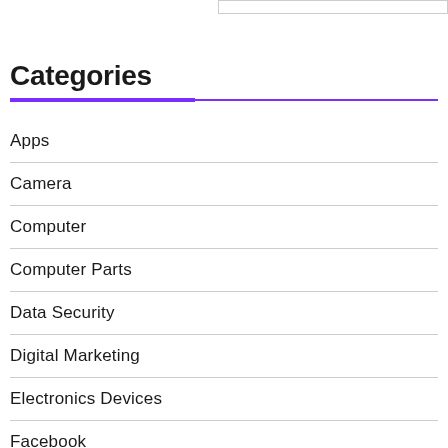Categories
Apps
Camera
Computer
Computer Parts
Data Security
Digital Marketing
Electronics Devices
Facebook
Games